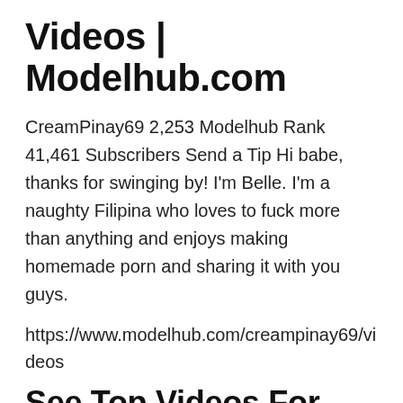Videos | Modelhub.com
CreamPinay69 2,253 Modelhub Rank 41,461 Subscribers Send a Tip Hi babe, thanks for swinging by! I'm Belle. I'm a naughty Filipina who loves to fuck more than anything and enjoys making homemade porn and sharing it with you guys.
https://www.modelhub.com/creampinay69/videos
See Top Videos For CreamPinay69
SafeSearch is suppressing adult videos.
/videos/search?